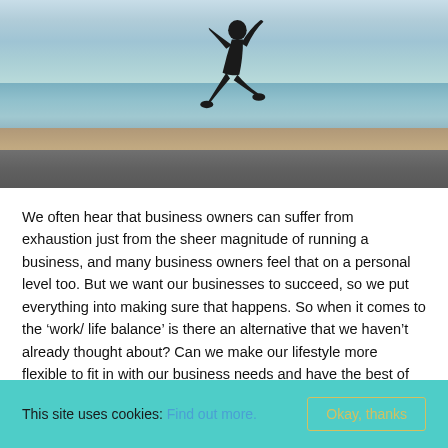[Figure (photo): A silhouette of a person jumping/kicking in a dynamic pose on a road beside a body of water, with a bright sky and distant landmass in the background.]
We often hear that business owners can suffer from exhaustion just from the sheer magnitude of running a business, and many business owners feel that on a personal level too. But we want our businesses to succeed, so we put everything into making sure that happens. So when it comes to the 'work/ life balance' is there an alternative that we haven't already thought about? Can we make our lifestyle more flexible to fit in with our business needs and have the best of both worlds? Here are some points to consider and hopefully help you
This site uses cookies: Find out more.